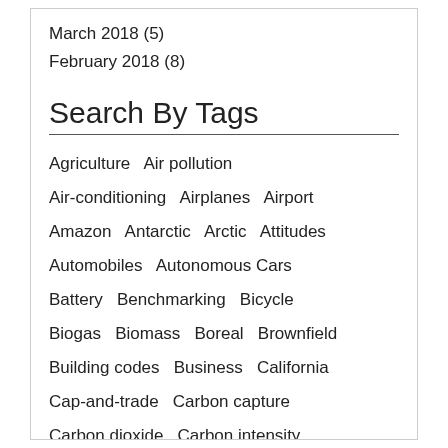March 2018 (5)
February 2018 (8)
Search By Tags
Agriculture  Air pollution  Air-conditioning  Airplanes  Airport  Amazon  Antarctic  Arctic  Attitudes  Automobiles  Autonomous Cars  Battery  Benchmarking  Bicycle  Biogas  Biomass  Boreal  Brownfield  Building codes  Business  California  Cap-and-trade  Carbon capture  Carbon dioxide  Carbon intensity  Carbon neutral  Carbon tax  CDG  Charging stations  China  CHP  Clean energy